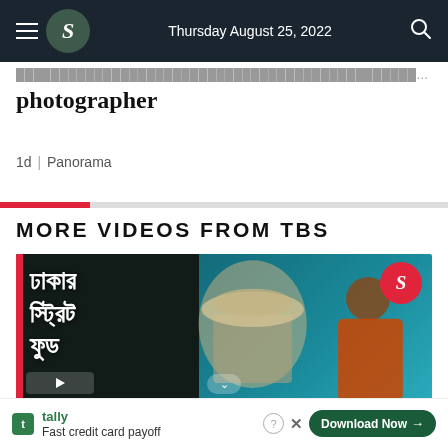Thursday August 25, 2022
photographer
1d | Panorama
MORE VIDEOS FROM TBS
[Figure (screenshot): TBS video thumbnail showing Bengali text 'Dhakar Street Food' with food imagery and a person, on teal and dark background with TBS logo]
Fast credit card payoff